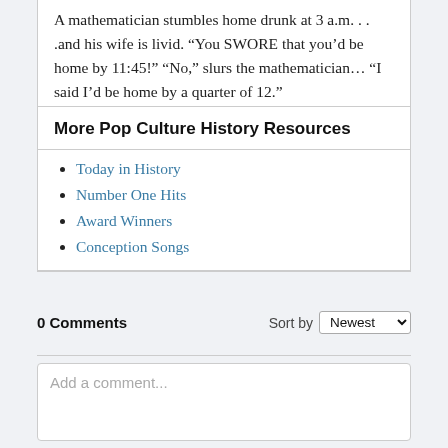A mathematician stumbles home drunk at 3 a.m. . . .and his wife is livid. “You SWORE that you’d be home by 11:45!” “No,” slurs the mathematician… “I said I’d be home by a quarter of 12.”
More Pop Culture History Resources
Today in History
Number One Hits
Award Winners
Conception Songs
0 Comments
Sort by Newest
Add a comment...